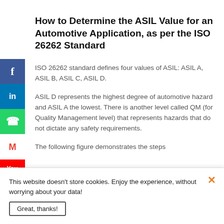How to Determine the ASIL Value for an Automotive Application, as per the ISO 26262 Standard
ISO 26262 standard defines four values of ASIL: ASIL A, ASIL B, ASIL C, ASIL D.
ASIL D represents the highest degree of automotive hazard and ASIL A the lowest. There is another level called QM (for Quality Management level) that represents hazards that do not dictate any safety requirements.
The following figure demonstrates the steps
This website doesn't store cookies. Enjoy the experience, without worrying about your data!
Great, thanks!